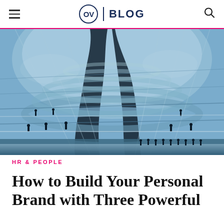OV | BLOG
[Figure (photo): Interior architectural photo of a modern glass dome structure (Reichstag dome, Berlin) with spiral walkways, glass panels, and silhouettes of people walking along curved ramps viewed from below.]
HR & PEOPLE
How to Build Your Personal Brand with Three Powerful